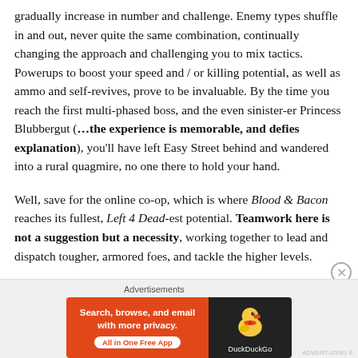gradually increase in number and challenge. Enemy types shuffle in and out, never quite the same combination, continually changing the approach and challenging you to mix tactics. Powerups to boost your speed and / or killing potential, as well as ammo and self-revives, prove to be invaluable. By the time you reach the first multi-phased boss, and the even sinister-er Princess Blubbergut (…the experience is memorable, and defies explanation), you'll have left Easy Street behind and wandered into a rural quagmire, no one there to hold your hand.
Well, save for the online co-op, which is where Blood & Bacon reaches its fullest, Left 4 Dead-est potential. Teamwork here is not a suggestion but a necessity, working together to lead and dispatch tougher, armored foes, and tackle the higher levels.
[Figure (other): DuckDuckGo advertisement banner: orange left panel with text 'Search, browse, and email with more privacy.' and 'All in One Free App' button; dark right panel with DuckDuckGo duck logo and brand name.]